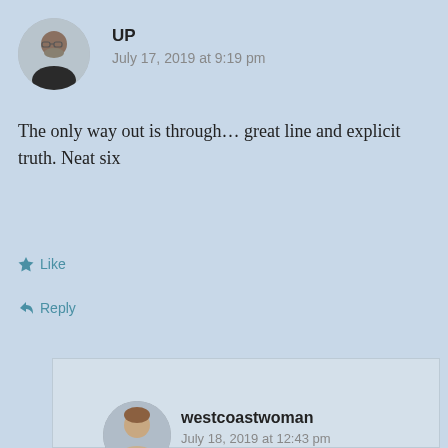[Figure (photo): Circular avatar photo of a man (UP)]
UP
July 17, 2019 at 9:19 pm
The only way out is through… great line and explicit truth. Neat six
Like
Reply
[Figure (photo): Circular avatar photo of a woman (westcoastwoman)]
westcoastwoman
July 18, 2019 at 12:43 pm
….. sometimes I wish it wasn't but no